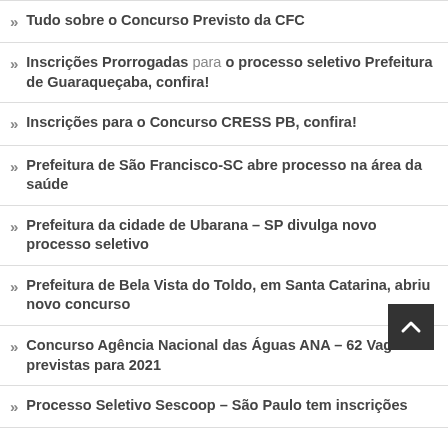Tudo sobre o Concurso Previsto da CFC
Inscrições Prorrogadas para o processo seletivo Prefeitura de Guaraqueçaba, confira!
Inscrições para o Concurso CRESS PB, confira!
Prefeitura de São Francisco-SC abre processo na área da saúde
Prefeitura da cidade de Ubarana – SP divulga novo processo seletivo
Prefeitura de Bela Vista do Toldo, em Santa Catarina, abriu novo concurso
Concurso Agência Nacional das Águas ANA – 62 Vagas previstas para 2021
Processo Seletivo Sescoop – São Paulo tem inscrições